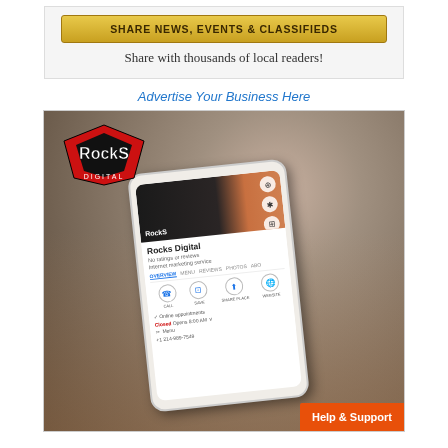[Figure (infographic): Yellow button with text SHARE NEWS, EVENTS & CLASSIFIEDS, above text Share with thousands of local readers!]
Advertise Your Business Here
[Figure (photo): Photo of hands holding a smartphone showing a Rocks Digital Google Maps/business listing, with Rocks Digital logo overlay in top-left. A Help & Support button is visible in bottom-right corner.]